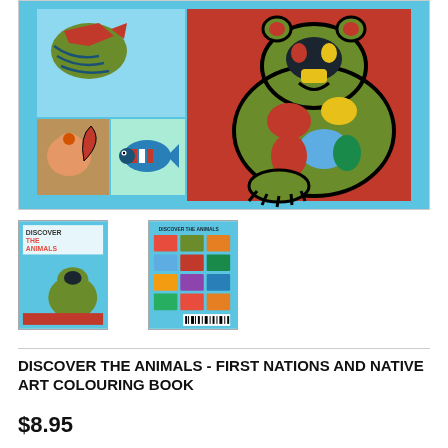[Figure (illustration): Cover art of 'Discover the Animals - First Nations and Native Art Colouring Book'. A large colourful illustration on a sky-blue background showing stylized Indigenous art animals: a large green/red/black bear figure on the right, and smaller panels on the left with a bird, a squirrel, and a fish depicted in First Nations art style with bold black outlines and bright colours (red, green, orange, teal, yellow).]
[Figure (photo): Thumbnail of the book front cover showing 'DISCOVER THE ANIMALS' title with a green bear illustration on blue background.]
[Figure (photo): Thumbnail of the book back cover showing a grid of animal illustrations and barcode.]
DISCOVER THE ANIMALS - FIRST NATIONS AND NATIVE ART COLOURING BOOK
$8.95